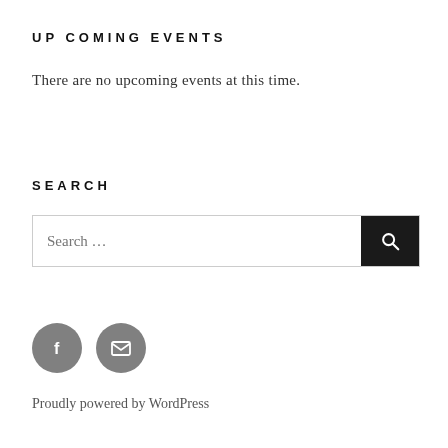UPCOMING EVENTS
There are no upcoming events at this time.
SEARCH
[Figure (other): Search input field with a search icon button on the right]
[Figure (other): Two circular social media icon buttons: Facebook (f) and Email (envelope)]
Proudly powered by WordPress